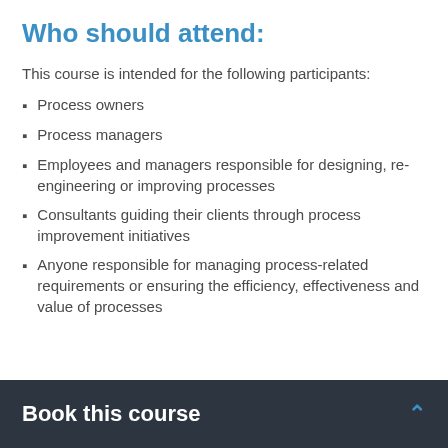Who should attend:
This course is intended for the following participants:
Process owners
Process managers
Employees and managers responsible for designing, re-engineering or improving processes
Consultants guiding their clients through process improvement initiatives
Anyone responsible for managing process-related requirements or ensuring the efficiency, effectiveness and value of processes
Book this course